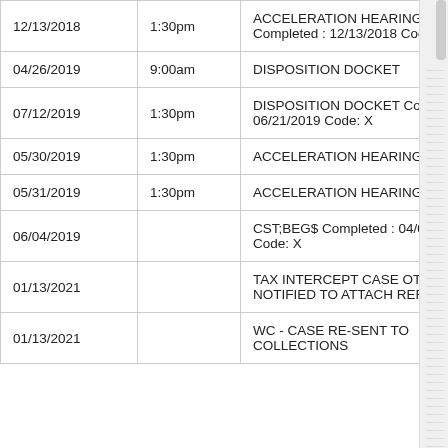| Date | Time | Description |
| --- | --- | --- |
| 12/13/2018 | 1:30pm | ACCELERATION HEARING Completed : 12/13/2018 Code: X |
| 04/26/2019 | 9:00am | DISPOSITION DOCKET |
| 07/12/2019 | 1:30pm | DISPOSITION DOCKET Completed : 06/21/2019 Code: X |
| 05/30/2019 | 1:30pm | ACCELERATION HEARING |
| 05/31/2019 | 1:30pm | ACCELERATION HEARING |
| 06/04/2019 |  | CST;BEG$ Completed : 04/09/2021 Code: X |
| 01/13/2021 |  | TAX INTERCEPT CASE OTC NOTIFIED TO ATTACH REFUND |
| 01/13/2021 |  | WC - CASE RE-SENT TO COLLECTIONS |